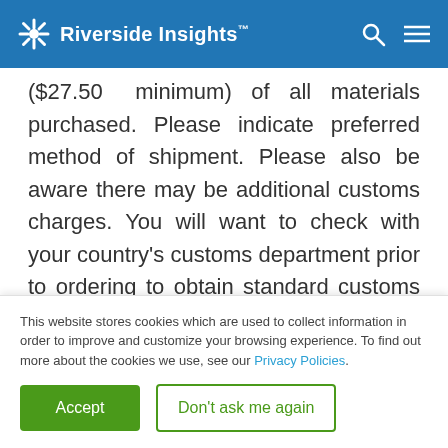Riverside Insights
($27.50 minimum) of all materials purchased. Please indicate preferred method of shipment. Please also be aware there may be additional customs charges. You will want to check with your country's customs department prior to ordering to obtain standard customs fees that you will incur. Customs fees are not part of Riverside Insights' billing to you.
This website stores cookies which are used to collect information in order to improve and customize your browsing experience. To find out more about the cookies we use, see our Privacy Policies.
Accept | Don't ask me again